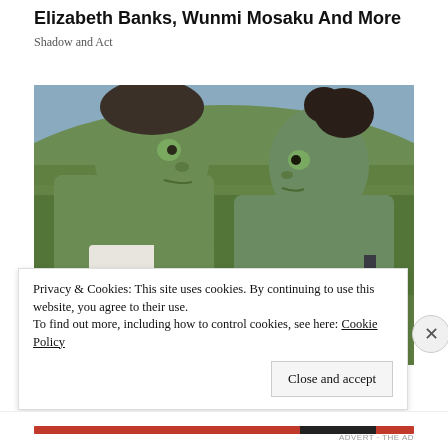Elizabeth Banks, Wunmi Mosaku And More
Shadow and Act
[Figure (photo): Two green-skinned characters (Hulk and She-Hulk) facing each other with hands raised palm-to-palm outdoors in a forest/mountain setting. From the Marvel series She-Hulk.]
Privacy & Cookies: This site uses cookies. By continuing to use this website, you agree to their use.
To find out more, including how to control cookies, see here: Cookie Policy
Close and accept